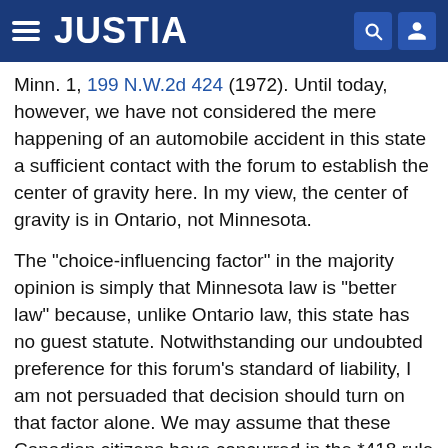JUSTIA
Minn. 1, 199 N.W.2d 424 (1972). Until today, however, we have not considered the mere happening of an automobile accident in this state a sufficient contact with the forum to establish the center of gravity here. In my view, the center of gravity is in Ontario, not Minnesota.
The "choice-influencing factor" in the majority opinion is simply that Minnesota law is "better law" because, unlike Ontario law, this state has no guest statute. Notwithstanding our undoubted preference for this forum's standard of liability, I am not persuaded that decision should turn on that factor alone. We may assume that these Canadian citizens have concurred in the *418 rule of law of their own government as just, so the law of this American forum is not for them the "better" standard of justice. The litigation, indeed, was